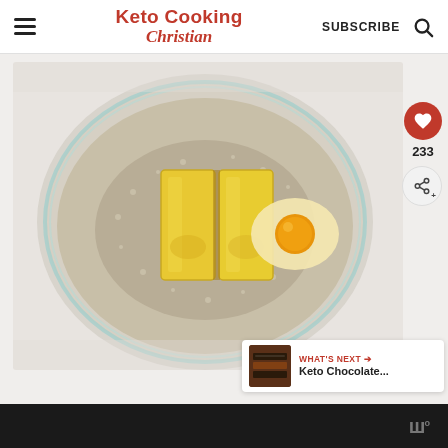Keto Cooking Christian — SUBSCRIBE
[Figure (photo): Glass bowl containing two sticks of butter and a cracked egg sitting in almond flour or similar dry ingredients, photographed from above on a white surface. Side UI shows heart icon with 233 likes, share button, and 'What's Next: Keto Chocolate...' preview card.]